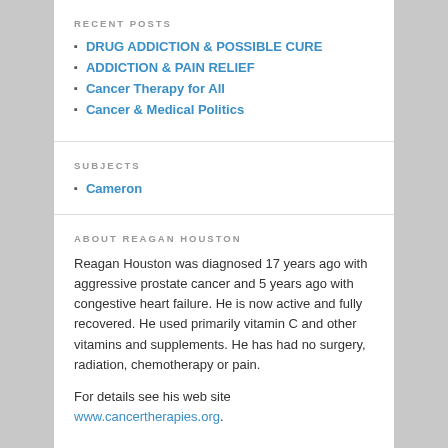RECENT POSTS
DRUG ADDICTION & POSSIBLE CURE
ADDICTION & PAIN RELIEF
Cancer Therapy for All
Cancer & Medical Politics
SUBJECTS
Cameron
ABOUT REAGAN HOUSTON
Reagan Houston was diagnosed 17 years ago with aggressive prostate cancer and 5 years ago with congestive heart failure. He is now active and fully recovered. He used primarily vitamin C and other vitamins and supplements. He has had no surgery, radiation, chemotherapy or pain.
For details see his web site www.cancertherapies.org.